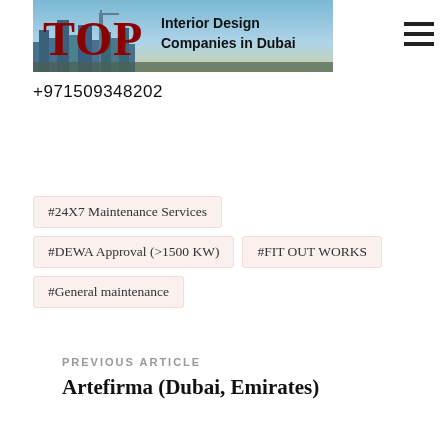[Figure (logo): TOP Interior Design Companies in Dubai banner logo with city skyline background]
+971509348202
#24X7 Maintenance Services
#DEWA Approval (>1500 KW)
#FIT OUT WORKS
#General maintenance
PREVIOUS ARTICLE
Artefirma (Dubai, Emirates)